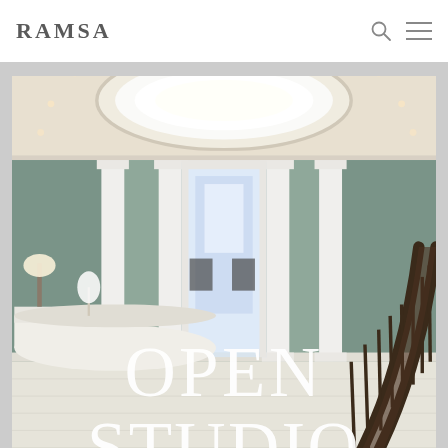RAMSA
[Figure (photo): Interior view of an elegant lobby/reception area with sage green walls, white classical columns, a large oval recessed ceiling light, curved white reception desk on the left, dark wood curved staircase railing on the right, and a corridor leading to a bright window at the back. The text 'OPEN STUDIO' is overlaid in white serif letters at the bottom of the image.]